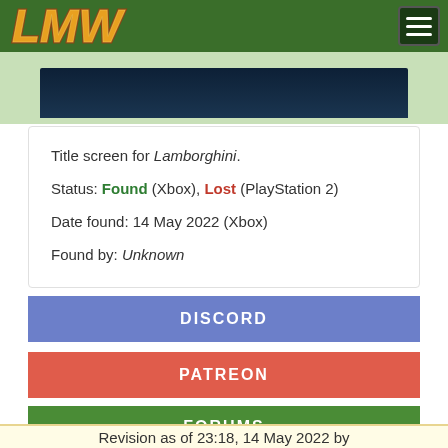LMW logo and navigation hamburger menu
[Figure (screenshot): Partially visible dark blue title screen image for Lamborghini video game on a green background]
Title screen for Lamborghini.
Status: Found (Xbox), Lost (PlayStation 2)
Date found: 14 May 2022 (Xbox)
Found by: Unknown
DISCORD
PATREON
FORUMS
Revision as of 23:18, 14 May 2022 by